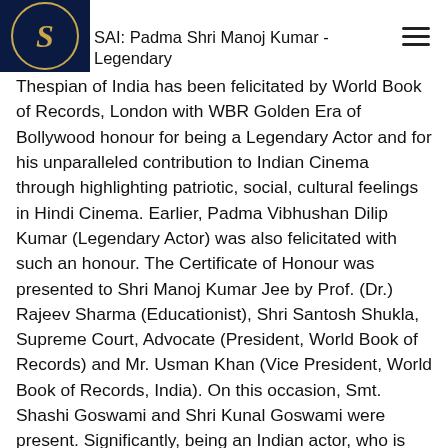SAI: Padma Shri Manoj Kumar - Legendary Thespian of India has been felicitated by World Book of Records, London with WBR Golden Era of Bollywood honour for being a Legendary Actor and for his unparalleled contribution to Indian Cinema through highlighting patriotic, social, cultural feelings in Hindi Cinema. Earlier, Padma Vibhushan Dilip Kumar (Legendary Actor) was also felicitated with such an honour. The Certificate of Honour was presented to Shri Manoj Kumar Jee by Prof. (Dr.) Rajeev Sharma (Educationist), Shri Santosh Shukla, Supreme Court, Advocate (President, World Book of Records) and Mr. Usman Khan (Vice President, World Book of Records, India). On this occasion, Smt. Shashi Goswami and Shri Kunal Goswami were present. Significantly, being an Indian actor, who is among the most honored and popular stars in film history. You are known for acting in and directing films with patriotic themes, and have been given the nickname Bharat Kumar. In 1992, you